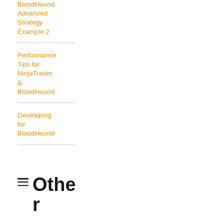BloodHound Advanced Strategy Example 2
Performance Tips for NinjaTrader & BloodHound
Developing for BloodHound
Other Indicators